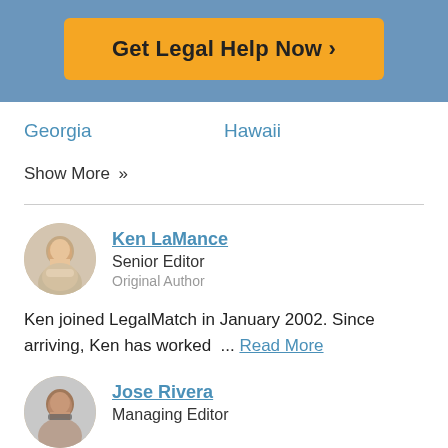[Figure (other): Orange button with text 'Get Legal Help Now >' on a blue banner background]
Georgia
Hawaii
Show More »
Ken LaMance
Senior Editor
Original Author
Ken joined LegalMatch in January 2002. Since arriving, Ken has worked  ... Read More
Jose Rivera
Managing Editor